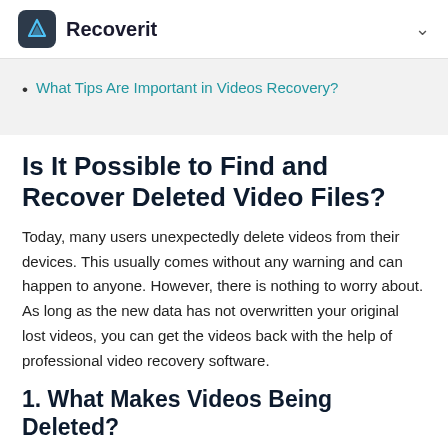Recoverit
What Tips Are Important in Videos Recovery?
Is It Possible to Find and Recover Deleted Video Files?
Today, many users unexpectedly delete videos from their devices. This usually comes without any warning and can happen to anyone. However, there is nothing to worry about. As long as the new data has not overwritten your original lost videos, you can get the videos back with the help of professional video recovery software.
1. What Makes Videos Being Deleted?
Before learning how to recover and find my deleted videos